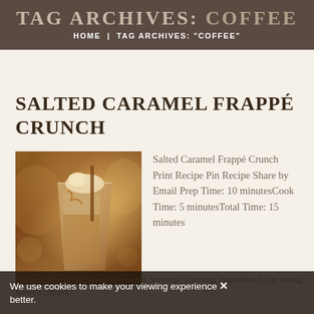TAG ARCHIVES: COFFEE | HOME | TAG ARCHIVES: "COFFEE"
SALTED CARAMEL FRAPPÉ CRUNCH
[Figure (photo): Photo of a Salted Caramel Frappé Crunch drink in a glass with ice and caramel topping]
Salted Caramel Frappé Crunch Print Recipe Pin Recipe Share by Email Prep Time: 10 minutesCook Time: 5 minutesTotal Time: 15 minutes Cuisine: AmericanCourse: Beverages Servings: 1 serving Ingredients1 cup strong, brewed coffee1
We use cookies to make your viewing experience better.